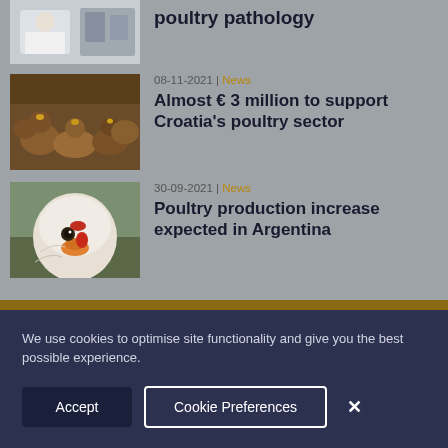[Figure (photo): Partial view of a person in a lab coat in a laboratory setting]
poultry pathology
[Figure (photo): Brown chickens/hens clustered together]
08-11-2021 | News
Almost € 3 million to support Croatia's poultry sector
[Figure (photo): Close-up of a white chicken's face]
30-09-2021 | News
Poultry production increase expected in Argentina
We use cookies to optimise site functionality and give you the best possible experience.
Accept
Cookie Preferences
×